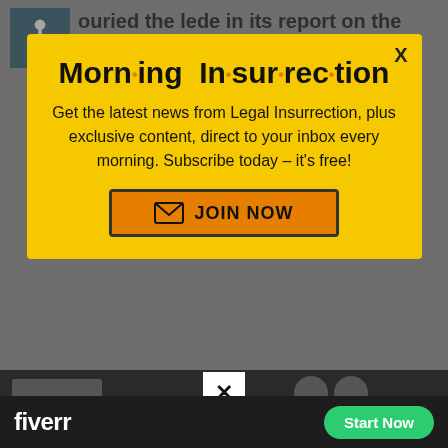ouried the lede in its report on the poll. The s for Trump didn't show up until the fourth paragraph:
[Figure (screenshot): Morning Insurrection newsletter signup modal popup with yellow background, orange dots in title, 'JOIN NOW' button, and X close button]
[Figure (screenshot): Fiverr advertisement bar at bottom of page with white Fiverr logo on dark background and green 'Start Now' button]